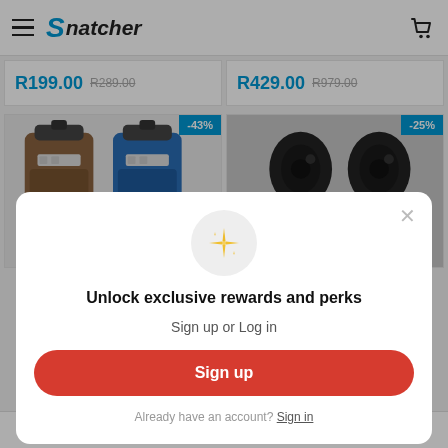[Figure (screenshot): Snatcher e-commerce website header with hamburger menu, logo, and cart icon]
R199.00 R289.00
R429.00 R979.00
[Figure (photo): Two portable Bluetooth speakers with -43% discount badge]
[Figure (photo): Black in-ear earphones/earbuds with -25% discount badge]
Unlock exclusive rewards and perks
Sign up or Log in
Sign up
Already have an account? Sign in
Cart Account Support More